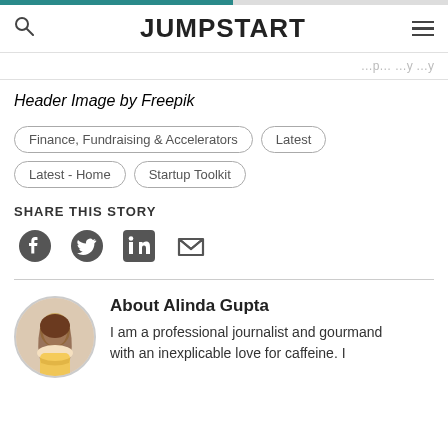JUMPSTART
Header Image by Freepik
Finance, Fundraising & Accelerators
Latest
Latest - Home
Startup Toolkit
SHARE THIS STORY
[Figure (infographic): Social share icons: Facebook, Twitter, LinkedIn, Email]
About Alinda Gupta
[Figure (photo): Circular portrait photo of Alinda Gupta, a woman with long dark hair, smiling]
I am a professional journalist and gourmand with an inexplicable love for caffeine. I